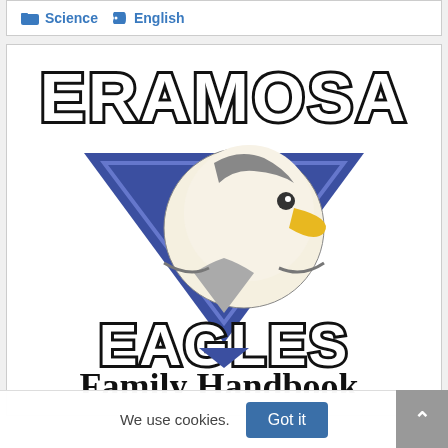Science  English
[Figure (logo): Eramosa Eagles school logo: large outlined text 'ERAMOSA' at top, a blue downward-pointing triangle with an eagle head mascot in the center, and 'EAGLES' text below, followed by 'Family Handbook' in cursive script]
We use cookies.  Got it